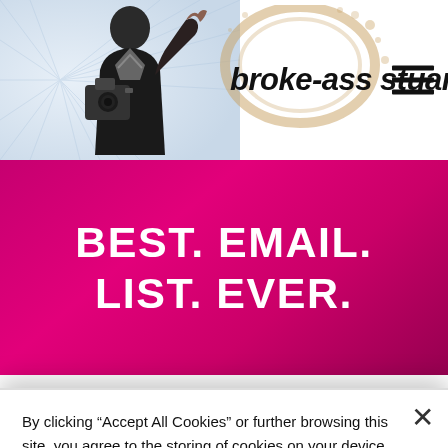[Figure (screenshot): Website header for broke-ass stuart showing a person with camera on left, site name in bold italic, and hamburger menu icon on right]
BEST. EMAIL. LIST. EVER.
By clicking “Accept All Cookies” or further browsing this site, you agree to the storing of cookies on your device to enhance site navigation, analyze site usage, and assist in our marketing efforts. Cookie Policy
Cookies Settings
Reject All
Accept All Cookies